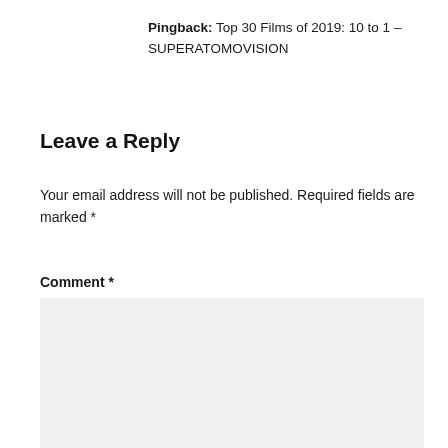Pingback: Top 30 Films of 2019: 10 to 1 – SUPERATOMOVISION
Leave a Reply
Your email address will not be published. Required fields are marked *
Comment *